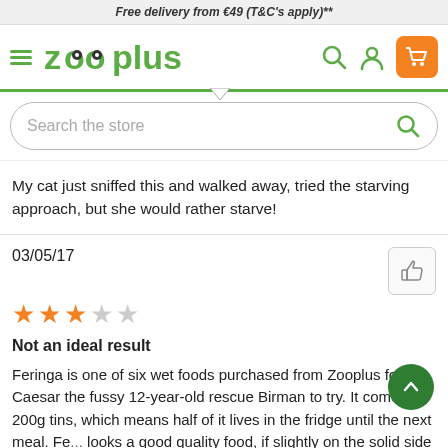Free delivery from €49 (T&C's apply)**
[Figure (logo): Zooplus website navigation bar with hamburger menu, zooplus logo, search icon, user icon, and orange shopping cart icon]
[Figure (screenshot): Search bar with placeholder text 'Search the store' and a green search icon on the right]
My cat just sniffed this and walked away, tried the starving approach, but she would rather starve!
03/05/17
★★★☆☆
Not an ideal result
Feringa is one of six wet foods purchased from Zooplus for Caesar the fussy 12-year-old rescue Birman to try. It comes in 200g tins, which means half of it lives in the fridge until the next meal. Fe... looks a good quality food, if slightly on the solid side for Caesar. Unfortunately, he vomited it at 4.00 in the morning (no sign of a fur ball), so that's the end of the Feringa trial.